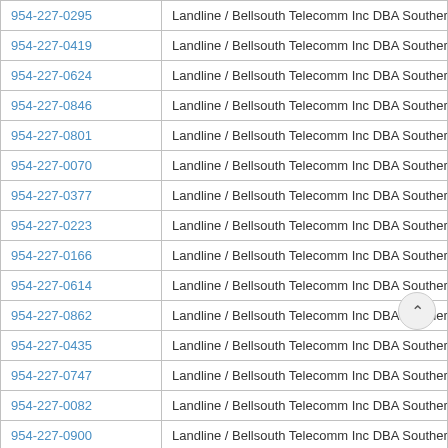| Phone | Info |
| --- | --- |
| 954-227-0295 | Landline / Bellsouth Telecomm Inc DBA Southern Bell Tel & Tel |
| 954-227-0419 | Landline / Bellsouth Telecomm Inc DBA Southern Bell Tel & Tel |
| 954-227-0624 | Landline / Bellsouth Telecomm Inc DBA Southern Bell Tel & Tel |
| 954-227-0846 | Landline / Bellsouth Telecomm Inc DBA Southern Bell Tel & Tel |
| 954-227-0801 | Landline / Bellsouth Telecomm Inc DBA Southern Bell Tel & Tel |
| 954-227-0070 | Landline / Bellsouth Telecomm Inc DBA Southern Bell Tel & Tel |
| 954-227-0377 | Landline / Bellsouth Telecomm Inc DBA Southern Bell Tel & Tel |
| 954-227-0223 | Landline / Bellsouth Telecomm Inc DBA Southern Bell Tel & Tel |
| 954-227-0166 | Landline / Bellsouth Telecomm Inc DBA Southern Bell Tel & Tel |
| 954-227-0614 | Landline / Bellsouth Telecomm Inc DBA Southern Bell Tel & Tel |
| 954-227-0862 | Landline / Bellsouth Telecomm Inc DBA Southern Bell Tel & Tel |
| 954-227-0435 | Landline / Bellsouth Telecomm Inc DBA Southern Bell Tel & Tel |
| 954-227-0747 | Landline / Bellsouth Telecomm Inc DBA Southern Bell Tel & Tel |
| 954-227-0082 | Landline / Bellsouth Telecomm Inc DBA Southern Bell Tel & Tel |
| 954-227-0900 | Landline / Bellsouth Telecomm Inc DBA Southern Bell |
| 954-227-0280 | Landline / Bellsouth Telecomm Inc DBA Southern Bell . |
| 954-227-0347 | Landline / Bellsouth Telecomm Inc DBA Southern Bell Tel & Tel |
| 954-227-0265 | Landline / Bellsouth Telecomm Inc DBA Southern Bell Tel & Tel |